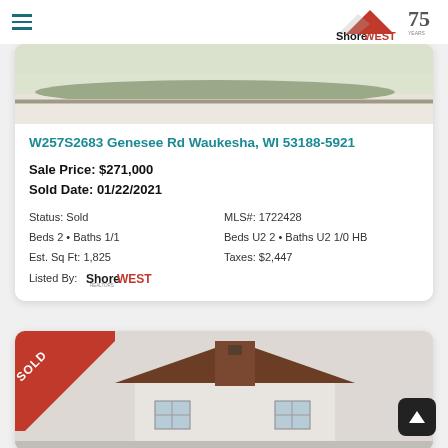Shorewest Realtors - 75 Years
[Figure (photo): Exterior photo of property at W257S2683 Genesee Rd, Waukesha, WI - winter scene with frost on grass]
W257S2683 Genesee Rd Waukesha, WI 53188-5921
Sale Price: $271,000
Sold Date: 01/22/2021
Status: Sold
MLS#: 1722428
Beds 2 • Baths 1/1
Beds U2 2 • Baths U2 1/0 HB
Est. Sq Ft: 1,825
Taxes: $2,447
Listed By: Shorewest
[Figure (photo): Exterior photo of second property listing, showing house with brown roof, SOLD banner in corner]